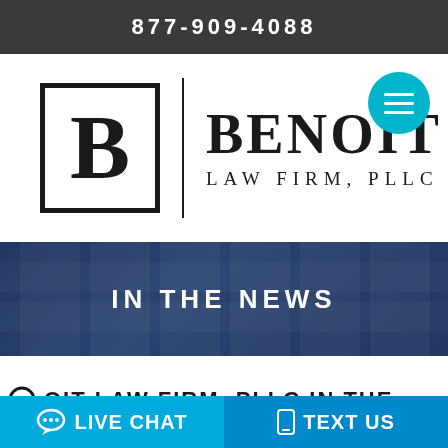877-909-4088
[Figure (logo): Benoit Law Firm PLLC logo with a square B monogram and stylized text]
IN THE NEWS
OIT LAW FIRM, PLLC IN THE
LIVE CHAT  TEXT US